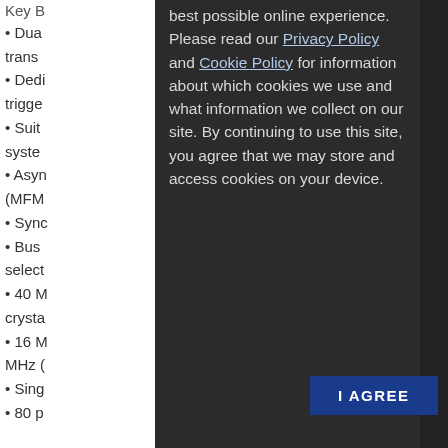Key B
• Dua trans
• Dedi trigge
• Sult syste
• Asyn (MFM
• Sync
• Bus select
• 40 M crysta
• 16 M MHz (
• Sing
• 80 p
best possible online experience. Please read our Privacy Policy and Cookie Policy for information about which cookies we use and what information we collect on our site. By continuing to use this site, you agree that we may store and access cookies on your device.
[Figure (screenshot): I AGREE button — dark blue rectangle with white bold text 'I AGREE' centered]